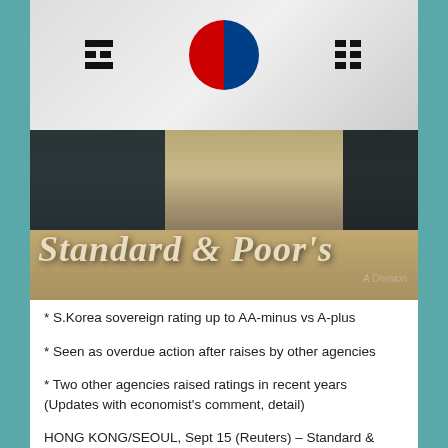[Figure (photo): South Korean national flag (Taegukgi) — white background with blue and red taegeuk symbol and black trigrams in corners]
[Figure (photo): Photo of Standard & Poor's building exterior with large italic signage reading 'Standard & Poor's' and 'A Division' text at lower right]
* S.Korea sovereign rating up to AA-minus vs A-plus
* Seen as overdue action after raises by other agencies
* Two other agencies raised ratings in recent years (Updates with economist's comment, detail)
HONG KONG/SEOUL, Sept 15 (Reuters) – Standard & Poor's raised South Korea's sovereign currency rating to AA-minus